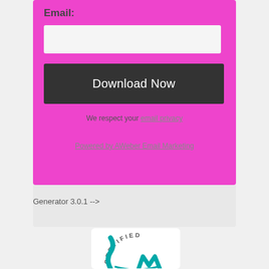Email:
Download Now
We respect your email privacy
Powered by AWeber Email Marketing
Generator 3.0.1 -->
[Figure (logo): Certified seal logo with teal text and arc design, partially visible]